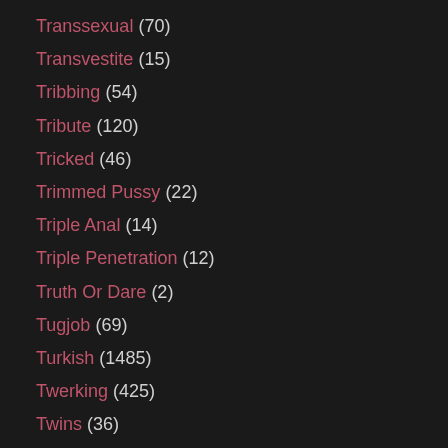Transsexual (70)
Transvestite (15)
Tribbing (54)
Tribute (120)
Tricked (46)
Trimmed Pussy (22)
Triple Anal (14)
Triple Penetration (12)
Truth Or Dare (2)
Tugjob (69)
Turkish (1485)
Twerking (425)
Twins (36)
Ugly (58)
Ukrainian (221)
Uncensored (248)